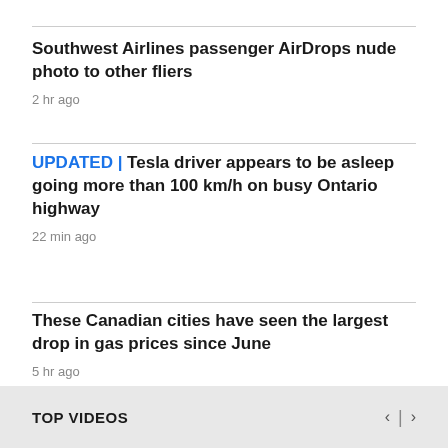Southwest Airlines passenger AirDrops nude photo to other fliers
2 hr ago
UPDATED | Tesla driver appears to be asleep going more than 100 km/h on busy Ontario highway
22 min ago
These Canadian cities have seen the largest drop in gas prices since June
5 hr ago
TOP VIDEOS